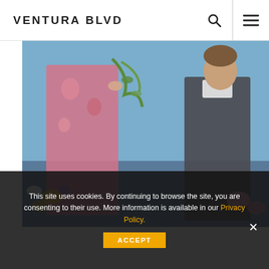VENTURA BLVD
[Figure (photo): Wedding scene with a man in a suit and a woman in a pink floral dress near floral decorations and a swing with greenery; outdoor setting with blue sky]
This site uses cookies. By continuing to browse the site, you are consenting to their use. More information is available in our Privacy Policy.
ACCEPT